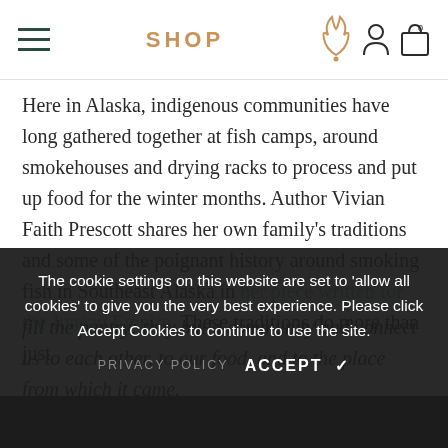SHOP
Here in Alaska, indigenous communities have long gathered together at fish camps, around smokehouses and drying racks to process and put up food for the winter months. Author Vivian Faith Prescott shares her own family's traditions and some of the poignant history around smoking fish in Southeast Alaska in her piece written for the Juneau Empire. These traditions do more than just fill the pantry; they build community and connect us to each other, to our food, and to the place from which it came.
The cookie settings on this website are set to 'allow all cookies' to give you the very best experience. Please click Accept Cookies to continue to use the site.
PRIVACY POLICY   ACCEPT ✔